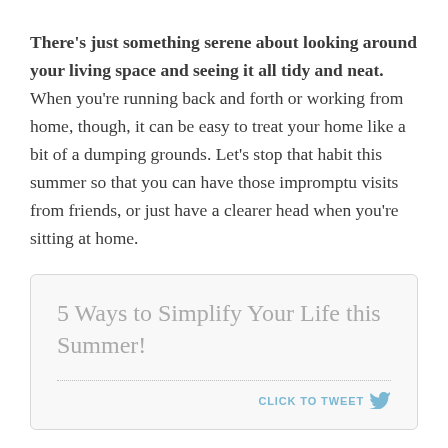There's just something serene about looking around your living space and seeing it all tidy and neat. When you're running back and forth or working from home, though, it can be easy to treat your home like a bit of a dumping grounds. Let's stop that habit this summer so that you can have those impromptu visits from friends, or just have a clearer head when you're sitting at home.
[Figure (other): Tweet quote box with text '5 Ways to Simplify Your Life this Summer!' and a 'CLICK TO TWEET' call-to-action with a Twitter bird icon]
3. Meal plan effectively
Taking ten minutes every Saturday and just sitting down